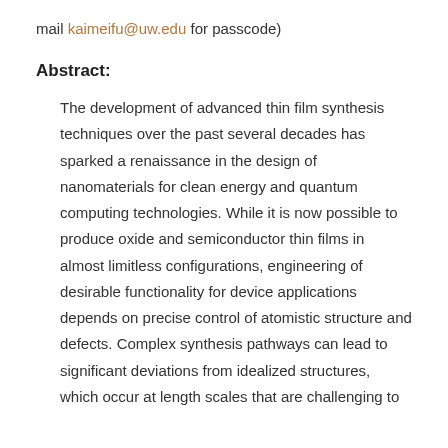mail kaimeifu@uw.edu for passcode)
Abstract:
The development of advanced thin film synthesis techniques over the past several decades has sparked a renaissance in the design of nanomaterials for clean energy and quantum computing technologies. While it is now possible to produce oxide and semiconductor thin films in almost limitless configurations, engineering of desirable functionality for device applications depends on precise control of atomistic structure and defects. Complex synthesis pathways can lead to significant deviations from idealized structures, which occur at length scales that are challenging to